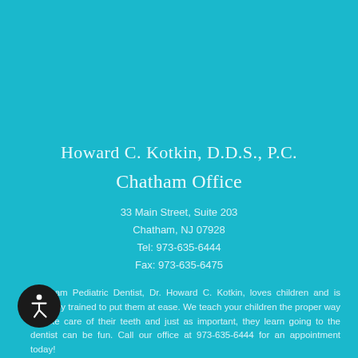Howard C. Kotkin, D.D.S., P.C.
Chatham Office
33 Main Street, Suite 203
Chatham, NJ 07928
Tel: 973-635-6444
Fax: 973-635-6475
Chatham Pediatric Dentist, Dr. Howard C. Kotkin, loves children and is specially trained to put them at ease. We teach your children the proper way to take care of their teeth and just as important, they learn going to the dentist can be fun. Call our office at 973-635-6444 for an appointment today!